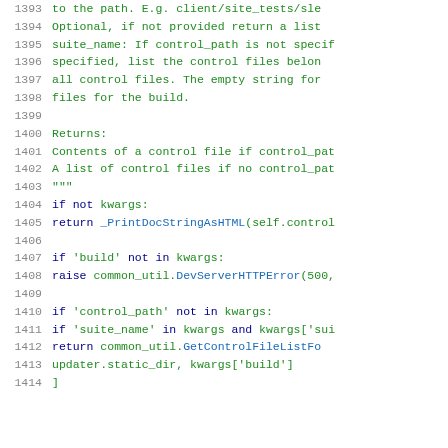Code listing lines 1393-1414, Python source code showing docstring and function body
1393    to the path. E.g. client/site_tests/sle
1394        Optional, if not provided return a list
1395    suite_name: If control_path is not specif
1396        specified, list the control files belon
1397        all control files. The empty string for
1398        files for the build.
1399
1400    Returns:
1401        Contents of a control file if control_pat
1402        A list of control files if no control_pat
1403    """
1404    if not kwargs:
1405        return _PrintDocStringAsHTML(self.control
1406
1407    if 'build' not in kwargs:
1408        raise common_util.DevServerHTTPError(500,
1409
1410    if 'control_path' not in kwargs:
1411        if 'suite_name' in kwargs and kwargs['sui
1412            return common_util.GetControlFileListFo
1413                updater.static_dir, kwargs['build']
1414    ]